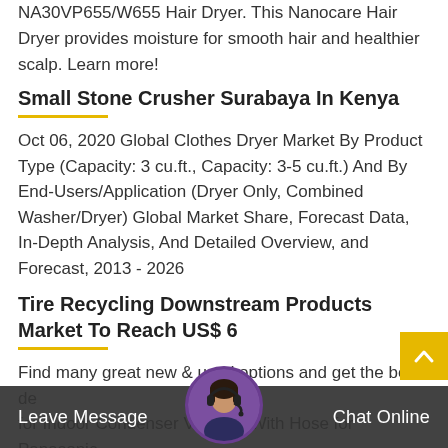NA30VP655/W655 Hair Dryer. This Nanocare Hair Dryer provides moisture for smooth hair and healthier scalp. Learn more!
Small Stone Crusher Surabaya In Kenya
Oct 06, 2020 Global Clothes Dryer Market By Product Type (Capacity: 3 cu.ft., Capacity: 3-5 cu.ft.) And By End-Users/Application (Dryer Only, Combined Washer/Dryer) Global Market Share, Forecast Data, In-Depth Analysis, And Detailed Overview, and Forecast, 2013 - 2026
Tire Recycling Downstream Products Market To Reach US$ 6
Find many great new & used options and get the best de for Indoor Condenser Vent With Hose for Panasonic Tur mm a st online Matec Metec 20 Ton Stone Crusher Full i